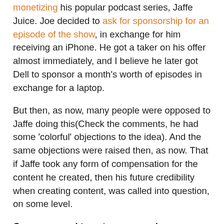monetizing his popular podcast series, Jaffe Juice. Joe decided to ask for sponsorship for an episode of the show, in exchange for him receiving an iPhone. He got a taker on his offer almost immediately, and I believe he later got Dell to sponsor a month's worth of episodes in exchange for a laptop.
But then, as now, many people were opposed to Jaffe doing this(Check the comments, he had some 'colorful' objections to the idea). And the same objections were raised then, as now. That if Jaffe took any form of compensation for the content he created, then his future credibility when creating content, was called into question, on some level.
Guys, we need to get over ourselves.
Yes, I get that some think that blogging and social media is completely pure, and that no money should be involved in this space. Many also want to see this space grow and be 'taken seriously'. Sorry guys, but part of being 'taken seriously' means that businesses need to see a reason to be here. They need to know that they will get a return from